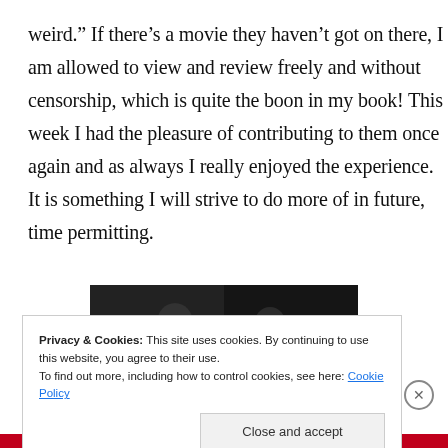weird.” If there’s a movie they haven’t got on there, I am allowed to view and review freely and without censorship, which is quite the boon in my book! This week I had the pleasure of contributing to them once again and as always I really enjoyed the experience. It is something I will strive to do more of in future, time permitting.
[Figure (photo): Partial view of two people smiling, appears to be a movie still or promotional image, dark background]
Privacy & Cookies: This site uses cookies. By continuing to use this website, you agree to their use.
To find out more, including how to control cookies, see here: Cookie Policy
Close and accept
Advertisements